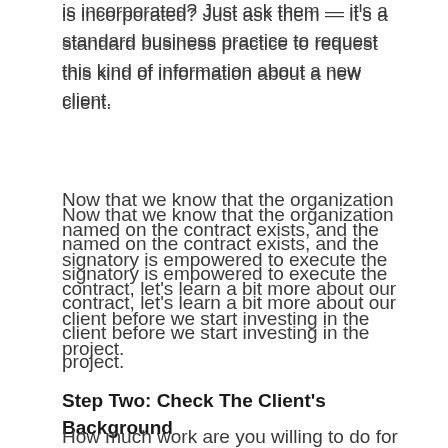is incorporated? Just ask them — it's a standard business practice to request this kind of information about a new client.
Now that we know that the organization named on the contract exists, and the signatory is empowered to execute the contract, let's learn a bit more about our client before we start investing in the project.
Step Two: Check The Client's Background
How much work are you willing to do for a client before you get paid? It's easy to say, "We need 50% up-front," but that's not always achievable. Larger clients, for example, tend to have a 15-30 day